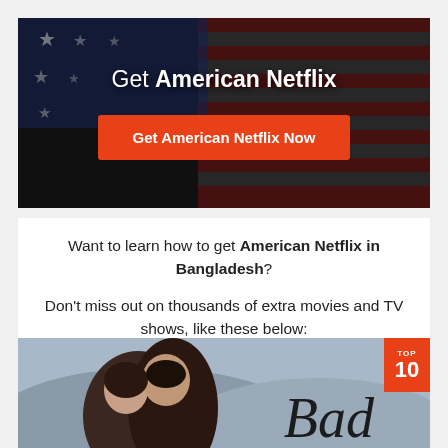[Figure (illustration): Hero banner with American flag background (dark overlay with stars and red/white stripes), white text 'Get American Netflix' and orange CTA button 'Get American Netflix Now']
Want to learn how to get American Netflix in Bangladesh?
Don't miss out on thousands of extra movies and TV shows, like these below:
[Figure (photo): Movie/show thumbnail with two Asian figures embracing outdoors, 'Bad' script text overlay, TOP 10 badge in red top right corner]